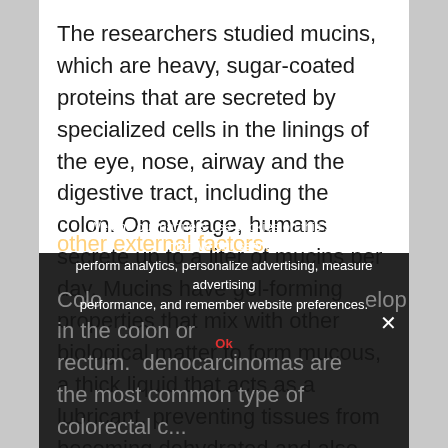The researchers studied mucins, which are heavy, sugar-coated proteins that are secreted by specialized cells in the linings of the eye, nose, airway and the digestive tract, including the colon. On average, humans secrete up to a liter of mucins per day. Mucins have gel-forming properties that mix with other biological matter to form mucous, a thick liquid that acts as a lubricant, preventing tissues from becoming dehydrated and also forming a barrier to protect cells from pathogens and other external factors.
We and our partners use cookies on this site to improve our service, perform analytics, personalize advertising, measure advertising performance, and remember website preferences.
Colorectal cancers develop in the colon or rectum. Adenocarcinomas are the most common type of colorectal cancer